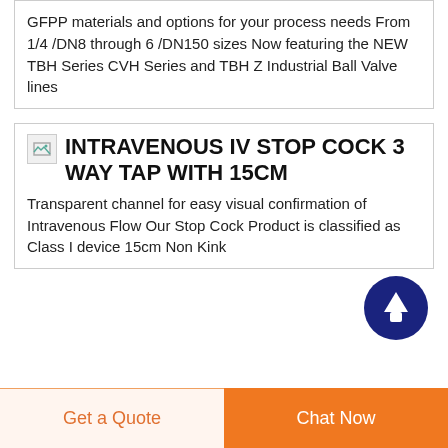GFPP materials and options for your process needs From 1/4 /DN8 through 6 /DN150 sizes Now featuring the NEW TBH Series CVH Series and TBH Z Industrial Ball Valve lines
INTRAVENOUS IV STOP COCK 3 WAY TAP WITH 15CM
Transparent channel for easy visual confirmation of Intravenous Flow Our Stop Cock Product is classified as Class I device 15cm Non Kink